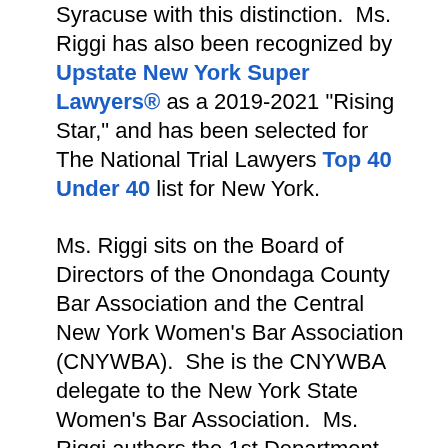Syracuse with this distinction.  Ms. Riggi has also been recognized by Upstate New York Super Lawyers® as a 2019-2021 "Rising Star," and has been selected for The National Trial Lawyers Top 40 Under 40 list for New York.
Ms. Riggi sits on the Board of Directors of the Onondaga County Bar Association and the Central New York Women's Bar Association (CNYWBA).  She is the CNYWBA delegate to the New York State Women's Bar Association.  Ms. Riggi authors the 1st Department Update for the New York State Academy of Trial Lawyers, and co-authors the "Civil Practice" chapter of the Syracuse Law Review's Survey on New York law.  She also serves as an Onondaga County Bar Association Volunteer Advocate Lawyer for Animal Abuse Court (VALAC), prepares dinners for the Ronald McDonald House "Meals that Heal" program, and is a member of the board of directors of Girls On The Run Upstate NY...